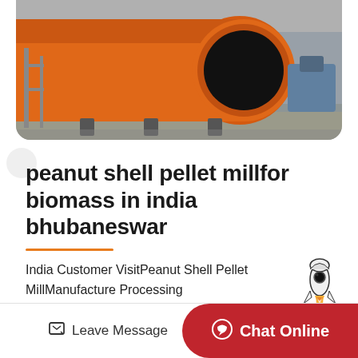[Figure (photo): Large orange industrial rotary drum or kiln lying on its side in a factory/industrial yard setting. The machine has a large circular opening at the front and appears to be a biomass pellet mill or similar industrial equipment.]
peanut shell pellet millfor biomass in india bhubaneswar
India Customer VisitPeanut Shell Pellet MillManufacture Processing materialwood,biomass,rice Hulls,corn Straw,sawdust,wood Shavings,tree Bark,peanutHull,cro...tra...
[Figure (illustration): Rocket emoji/illustration positioned to the right of the body text]
Leave Message  Chat Online